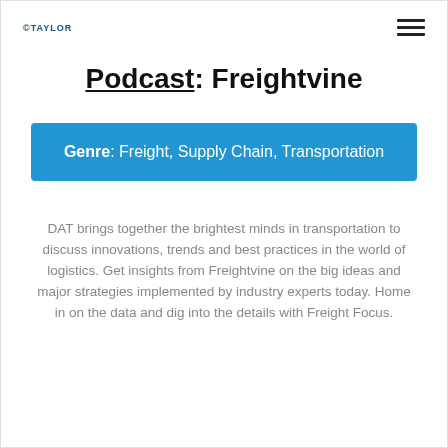©TAYLOR
Podcast: Freightvine
Genre: Freight, Supply Chain, Transportation
DAT brings together the brightest minds in transportation to discuss innovations, trends and best practices in the world of logistics. Get insights from Freightvine on the big ideas and major strategies implemented by industry experts today. Home in on the data and dig into the details with Freight Focus.
Listen on Spotify